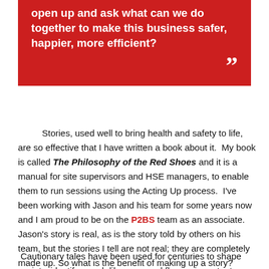open up and ask what can we do together to make this business safer, happier, more efficient? ”
Stories, used well to bring health and safety to life, are so effective that I have written a book about it. My book is called The Philosophy of the Red Shoes and it is a manual for site supervisors and HSE managers, to enable them to run sessions using the Acting Up process. I've been working with Jason and his team for some years now and I am proud to be on the P2BS team as an associate. Jason's story is real, as is the story told by others on his team, but the stories I tell are not real; they are completely made up. So what is the benefit of making up a story?
Cautionary tales have been used for centuries to shape society, identify moral dilemmas and flag up important shared...